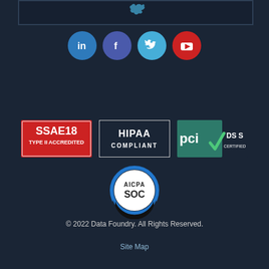[Figure (screenshot): Partial top image area with dark background and faint icon visible at top center]
[Figure (infographic): Row of four social media icons: LinkedIn (blue circle), Facebook (purple circle), Twitter (light blue circle), YouTube (red circle)]
[Figure (logo): SSAE18 TYPE II ACCREDITED badge with red background and white text]
[Figure (logo): HIPAA COMPLIANT badge with dark border and white text]
[Figure (logo): PCI DSS CERTIFIED badge with teal/green background]
[Figure (logo): AICPA SOC circular badge with blue ring and dark lower arc]
© 2022 Data Foundry. All Rights Reserved.
Site Map